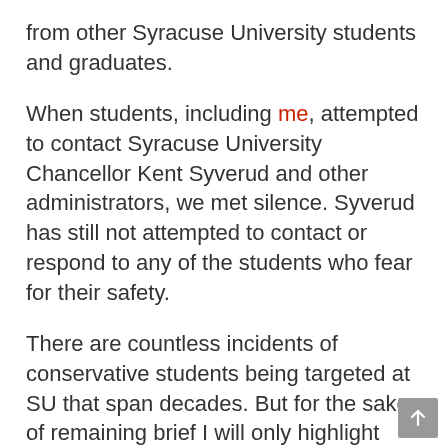from other Syracuse University students and graduates.
When students, including me, attempted to contact Syracuse University Chancellor Kent Syverud and other administrators, we met silence. Syverud has still not attempted to contact or respond to any of the students who fear for their safety.
There are countless incidents of conservative students being targeted at SU that span decades. But for the sake of remaining brief I will only highlight examples that have occurred within the past two years, beginning with my own.
Last month I wrote an opinion article for the